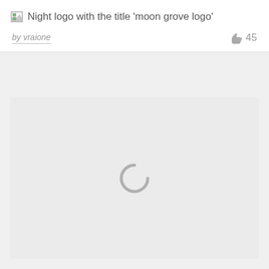[Figure (screenshot): Broken image placeholder with alt text: Night logo with the title 'moon grove logo']
by vraione
45
[Figure (other): Loading spinner graphic in grey]